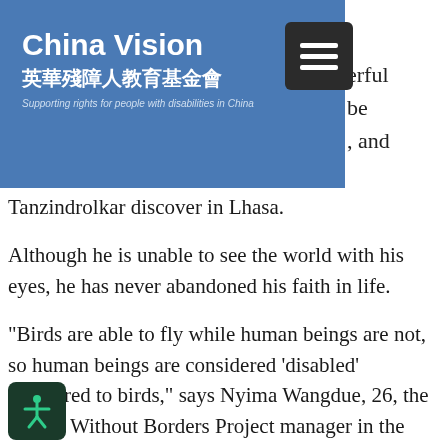China Vision 英華殘障人教育基金會 Supporting rights for people with disabilities in China
...erful be , and Tanzindrolkar discover in Lhasa.
Although he is unable to see the world with his eyes, he has never abandoned his faith in life.
"Birds are able to fly while human beings are not, so human beings are considered 'disabled' compared to birds," says Nyima Wangdue, 26, the Braille Without Borders Project manager in the Tibet autonomous region.